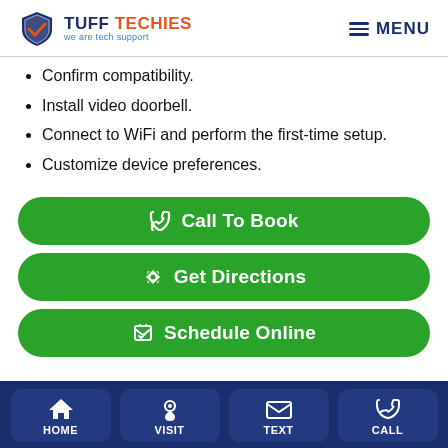[Figure (logo): Tuff Techies logo with shield icon and tagline 'we are tech support', plus hamburger MENU button]
Confirm compatibility.
Install video doorbell.
Connect to WiFi and perform the first-time setup.
Customize device preferences.
Call To Book
Get Directions
Schedule Online
HOME | VISIT | TEXT | CALL